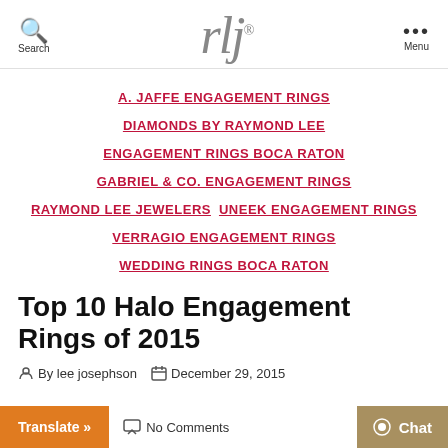rlj® — Search / Menu navigation header
A. JAFFE ENGAGEMENT RINGS
DIAMONDS BY RAYMOND LEE
ENGAGEMENT RINGS BOCA RATON
GABRIEL & CO. ENGAGEMENT RINGS
RAYMOND LEE JEWELERS   UNEEK ENGAGEMENT RINGS
VERRAGIO ENGAGEMENT RINGS
WEDDING RINGS BOCA RATON
Top 10 Halo Engagement Rings of 2015
By lee josephson   December 29, 2015   No Comments